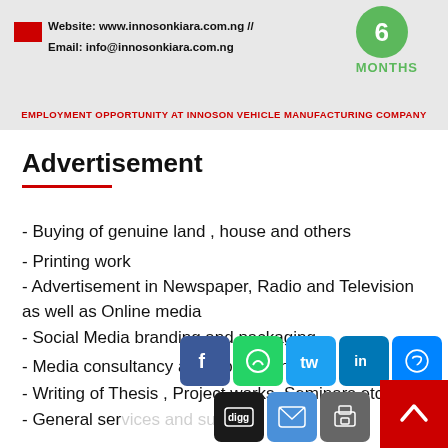[Figure (infographic): Banner for Innoson Kiara with contact info (Website: www.innosonkiara.com.ng // Email: info@innosonkiara.com.ng), a green circle with '6 MONTHS' label, and red tagline 'EMPLOYMENT OPPORTUNITY AT INNOSON VEHICLE MANUFACTURING COMPANY']
Advertisement
- Buying of genuine land , house and others
- Printing work
- Advertisement in Newspaper, Radio and Television as well as Online media
- Social Media branding and packaging
- Media consultancy and work of any type
- Writing of Thesis , Project works, Seminars etc
- General services and supplies
- Project management and supervision of building construction